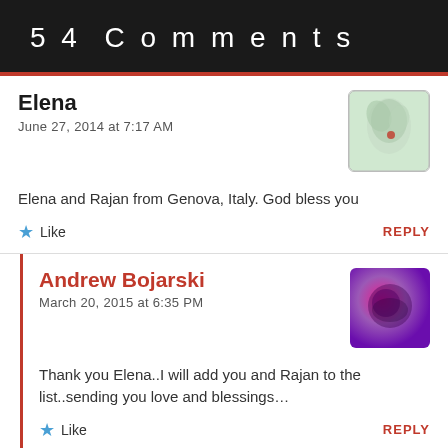54 Comments
Elena
June 27, 2014 at 7:17 AM
Elena and Rajan from Genova, Italy. God bless you
Like   REPLY
Andrew Bojarski
March 20, 2015 at 6:35 PM
Thank you Elena..I will add you and Rajan to the list..sending you love and blessings…
Like   REPLY
yasmine